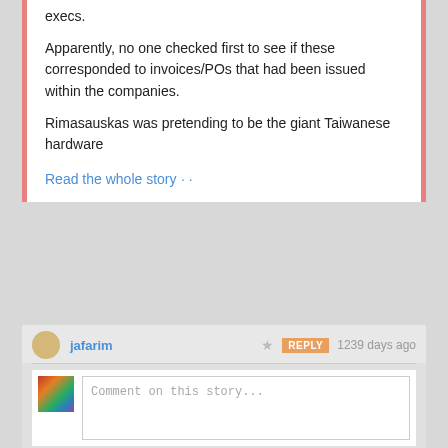execs.
Apparently, no one checked first to see if these corresponded to invoices/POs that had been issued within the companies.
Rimasauskas was pretending to be the giant Taiwanese hardware
Read the whole story · ·
jafarim  ★  REPLY  1239 days ago
Comment on this story...
Share this story
1 public comment
tekvax  ★  REPLY  1245 days ago
some people will try anything!
BURLINGTON, ONTARIO